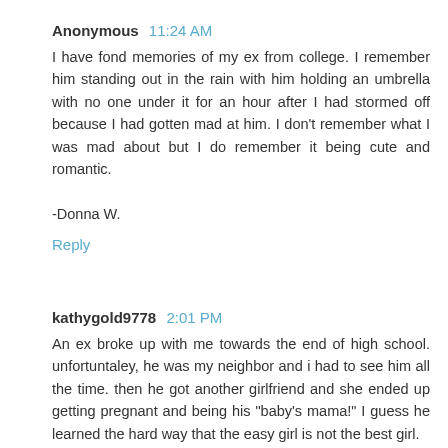Anonymous 11:24 AM
I have fond memories of my ex from college. I remember him standing out in the rain with him holding an umbrella with no one under it for an hour after I had stormed off because I had gotten mad at him. I don't remember what I was mad about but I do remember it being cute and romantic.

-Donna W.
Reply
kathygold9778 2:01 PM
An ex broke up with me towards the end of high school. unfortuntaley, he was my neighbor and i had to see him all the time. then he got another girlfriend and she ended up getting pregnant and being his "baby's mama!" I guess he learned the hard way that the easy girl is not the best girl.
kathygold9778